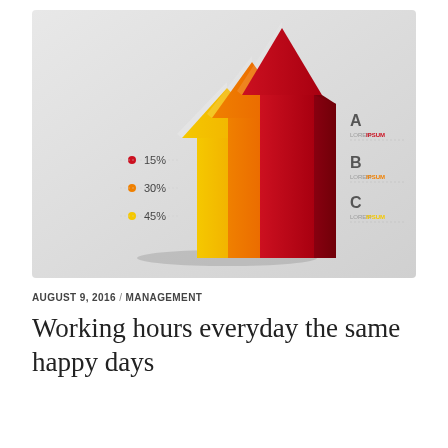[Figure (infographic): 3D infographic with three upward-pointing arrows in yellow, orange, and red (increasing in size), with percentage labels on the left (15%, 30%, 45%) and legend entries A, B, C with Lorem Ipsum text on the right.]
AUGUST 9, 2016 / MANAGEMENT
Working hours everyday the same happy days